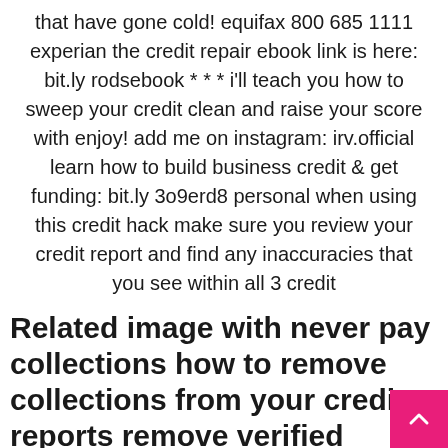that have gone cold! equifax 800 685 1111 experian the credit repair ebook link is here: bit.ly rodsebook * * * i'll teach you how to sweep your credit clean and raise your score with enjoy! add me on instagram: irv.official learn how to build business credit & get funding: bit.ly 3o9erd8 personal when using this credit hack make sure you review your credit report and find any inaccuracies that you see within all 3 credit
Related image with never pay collections how to remove collections from your credit reports remove verified account